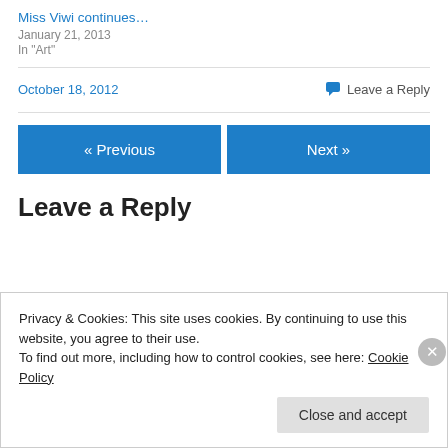Miss Viwi continues…
January 21, 2013
In "Art"
October 18, 2012
Leave a Reply
« Previous
Next »
Leave a Reply
Privacy & Cookies: This site uses cookies. By continuing to use this website, you agree to their use.
To find out more, including how to control cookies, see here: Cookie Policy
Close and accept